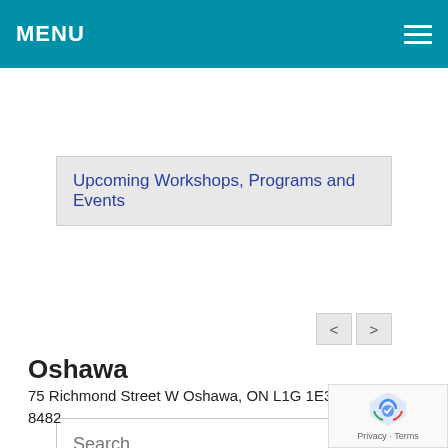MENU
Upcoming Workshops, Programs and Events
< >
Search...
JHS Oshawa
Oshawa
75 Richmond Street W Oshawa, ON L1G 1E3 905 579 8482
JHS Whitby